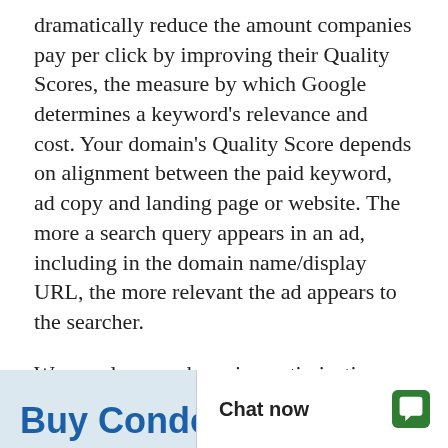dramatically reduce the amount companies pay per click by improving their Quality Scores, the measure by which Google determines a keyword's relevance and cost. Your domain's Quality Score depends on alignment between the paid keyword, ad copy and landing page or website. The more a search query appears in an ad, including in the domain name/display URL, the more relevant the ad appears to the searcher.
We are also search engine optimization (SEO) experts, and own SEO.com Inc. corporation with 40 employees. Let us know if you need help getting paid or organic traffic; help in getting to the top of Google.
Buy Condo   Chat now